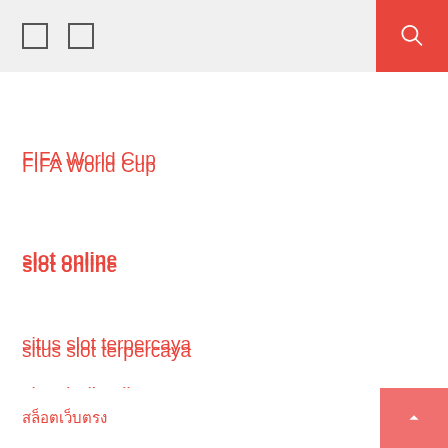☐ ☐ [search icon]
FIFA World Cup
slot online
situs slot terpercaya
situs judi online
สล็อตเว็บตรง [icon button]